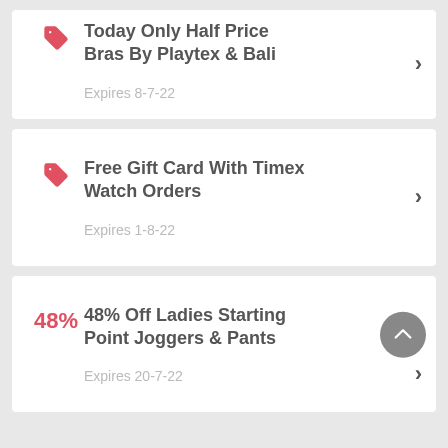Today Only Half Price Bras By Playtex & Bali — Expires 8-7-22
Free Gift Card With Timex Watch Orders — Expires 1-8-22
48% Off Ladies Starting Point Joggers & Pants — Expires 20-7-22